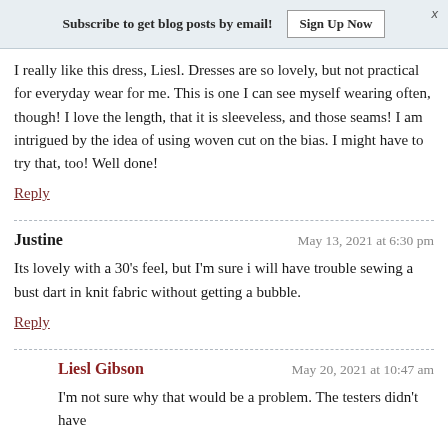Subscribe to get blog posts by email!   Sign Up Now   x
I really like this dress, Liesl. Dresses are so lovely, but not practical for everyday wear for me. This is one I can see myself wearing often, though! I love the length, that it is sleeveless, and those seams! I am intrigued by the idea of using woven cut on the bias. I might have to try that, too! Well done!
Reply
Justine   May 13, 2021 at 6:30 pm
Its lovely with a 30's feel, but I'm sure i will have trouble sewing a bust dart in knit fabric without getting a bubble.
Reply
Liesl Gibson   May 20, 2021 at 10:47 am
I'm not sure why that would be a problem. The testers didn't have